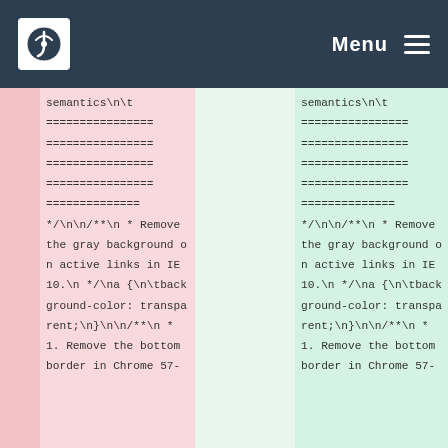Menu
semantics\n\t
================
================
================
================
==============
*/\n\n/**\n * Remove the gray background on active links in IE 10.\n */\na {\n\tbackground-color: transparent;\n}\n\n/**\n * 1. Remove the bottom border in Chrome 57-
semantics\n\t
================
================
================
================
==============
*/\n\n/**\n * Remove the gray background on active links in IE 10.\n */\na {\n\tbackground-color: transparent;\n}\n\n/**\n * 1. Remove the bottom border in Chrome 57-